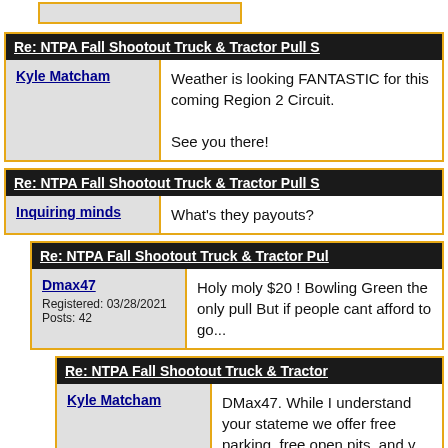Re: NTPA Fall Shootout Truck & Tractor Pull S
Kyle Matcham
Weather is looking FANTASTIC for this coming Region 2 Circuit.

See you there!
Re: NTPA Fall Shootout Truck & Tractor Pull S
Inquiring minds
What's they payouts?
Re: NTPA Fall Shootout Truck & Tractor Pul
Dmax47
Registered: 03/28/2021
Posts: 42
Holy moly $20 ! Bowling Green the only pull But if people cant afford to go...
Re: NTPA Fall Shootout Truck & Tractor
Kyle Matcham
DMax47. While I understand your stateme we offer free parking, free open pits, and v